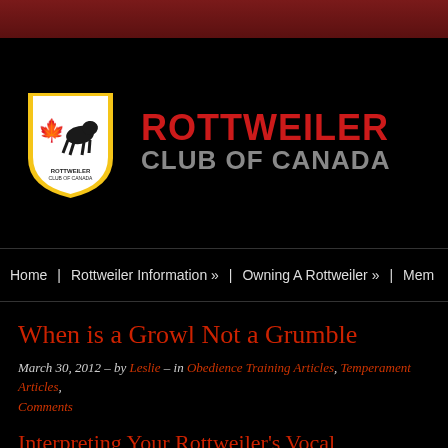[Figure (logo): Rottweiler Club of Canada shield logo with maple leaf and dog silhouette]
ROTTWEILER CLUB OF CANADA
Home | Rottweiler Information » | Owning A Rottweiler » | Mem...
When is a Growl Not a Grumble
March 30, 2012 – by Leslie – in Obedience Training Articles, Temperament Articles, Comments
Interpreting Your Rottweiler's Vocal Tendencies
In training and observing Rottweilers, a common problem I have noticed is wi... had people call me in hysterics because their precious little five month old Ro...